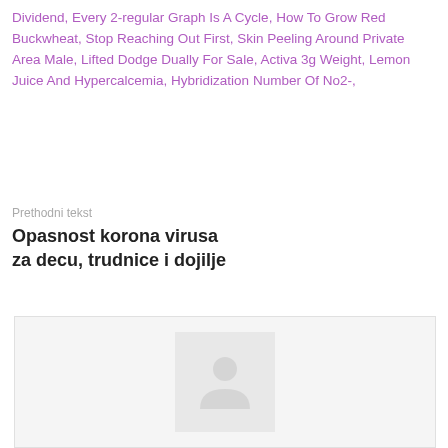Dividend, Every 2-regular Graph Is A Cycle, How To Grow Red Buckwheat, Stop Reaching Out First, Skin Peeling Around Private Area Male, Lifted Dodge Dually For Sale, Activa 3g Weight, Lemon Juice And Hypercalcemia, Hybridization Number Of No2-,
Prethodni tekst
Opasnost korona virusa za decu, trudnice i dojilje
[Figure (photo): Placeholder image box with a person/figure icon silhouette on a light gray background]